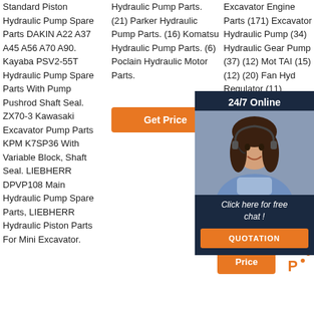Standard Piston Hydraulic Pump Spare Parts DAKIN A22 A37 A45 A56 A70 A90. Kayaba PSV2-55T Hydraulic Pump Spare Parts With Pump Pushrod Shaft Seal. ZX70-3 Kawasaki Excavator Pump Parts KPM K7SP36 With Variable Block, Shaft Seal. LIEBHERR DPVP108 Main Hydraulic Pump Spare Parts, LIEBHERR Hydraulic Piston Parts For Mini Excavator.
Hydraulic Pump Parts. (21) Parker Hydraulic Pump Parts. (16) Komatsu Hydraulic Pump Parts. (6) Poclain Hydraulic Motor Parts.
[Figure (other): Orange Get Price button]
Excavator Engine Parts (171) Excavator Hydraulic Pump (34) Hydraulic Gear Pump (37) (12) Moto... TAI... (15) (12) (20) Fan... Hyd... Regulator (11)
[Figure (other): 24/7 Online chat overlay with customer service agent photo, Click here for free chat tagline, and QUOTATION button]
[Figure (other): Orange Get Price button with decorative badge icon]